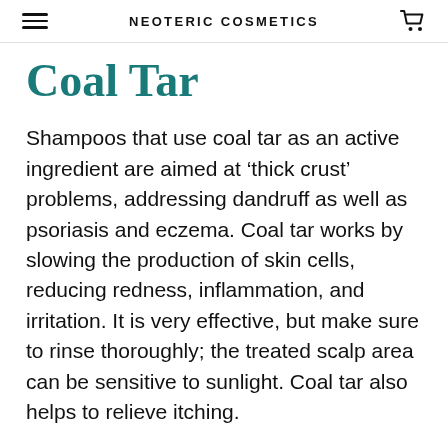NEOTERIC COSMETICS
Coal Tar
Shampoos that use coal tar as an active ingredient are aimed at ‘thick crust’ problems, addressing dandruff as well as psoriasis and eczema. Coal tar works by slowing the production of skin cells, reducing redness, inflammation, and irritation. It is very effective, but make sure to rinse thoroughly; the treated scalp area can be sensitive to sunlight. Coal tar also helps to relieve itching.